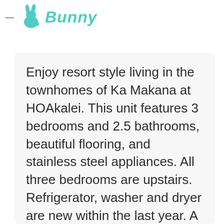— Bunny
Enjoy resort style living in the townhomes of Ka Makana at HOAkalei. This unit features 3 bedrooms and 2.5 bathrooms, beautiful flooring, and stainless steel appliances. All three bedrooms are upstairs. Refrigerator, washer and dryer are new within the last year. A private fenced back yard with a covered lanai and a two car garage completes the package. Includes access to the community pool, dog